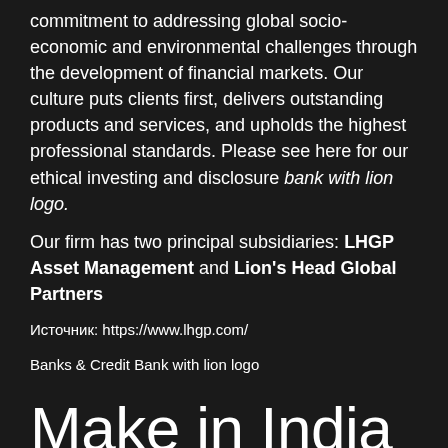commitment to addressing global socio-economic and environmental challenges through the development of financial markets. Our culture puts clients first, delivers outstanding products and services, and upholds the highest professional standards. Please see here for our ethical investing and disclosure bank with lion logo.
Our firm has two principal subsidiaries: LHGP Asset Management and Lion's Head Global Partners
Источник: https://www.lhgp.com/
Banks & Credit Bank with lion logo
Make in India lion logo not inspired by Swiss homes for